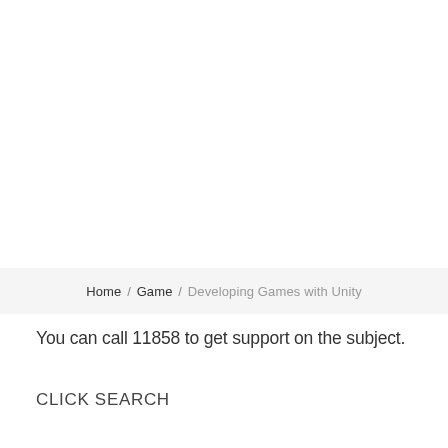Home / Game / Developing Games with Unity
You can call 11858 to get support on the subject.
CLICK SEARCH